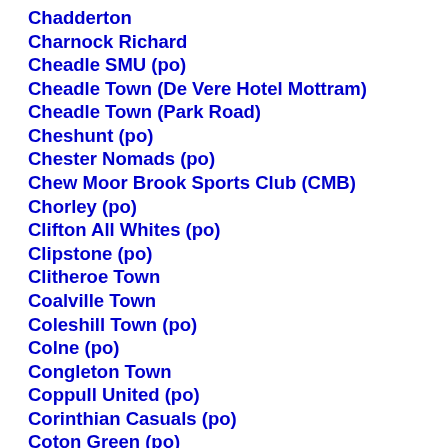Chadderton
Charnock Richard
Cheadle SMU (po)
Cheadle Town (De Vere Hotel Mottram)
Cheadle Town (Park Road)
Cheshunt (po)
Chester Nomads (po)
Chew Moor Brook Sports Club (CMB)
Chorley (po)
Clifton All Whites (po)
Clipstone (po)
Clitheroe Town
Coalville Town
Coleshill Town (po)
Colne (po)
Congleton Town
Coppull United (po)
Corinthian Casuals (po)
Coton Green (po)
Coventry Alvis (po)